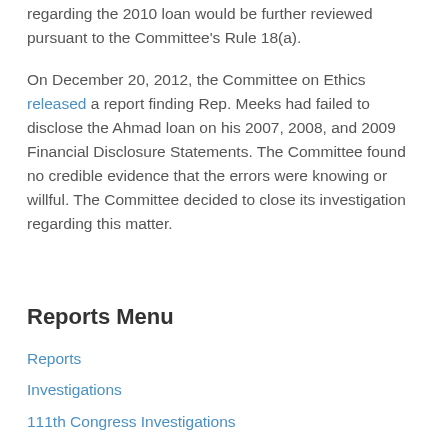regarding the 2010 loan would be further reviewed pursuant to the Committee's Rule 18(a).
On December 20, 2012, the Committee on Ethics released a report finding Rep. Meeks had failed to disclose the Ahmad loan on his 2007, 2008, and 2009 Financial Disclosure Statements. The Committee found no credible evidence that the errors were knowing or willful. The Committee decided to close its investigation regarding this matter.
Reports Menu
Reports
Investigations
111th Congress Investigations